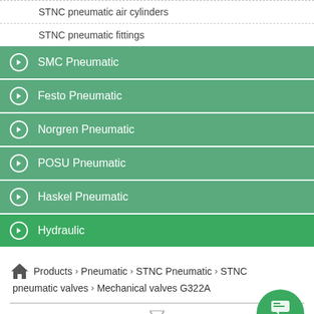STNC pneumatic air cylinders
STNC pneumatic fittings
SMC Pneumatic
Festo Pneumatic
Norgren Pneumatic
POSU Pneumatic
Haskel Pneumatic
Hydraulic
Products > Pneumatic > STNC Pneumatic > STNC pneumatic valves > Mechanical valves G322A
Mechanical valves G322A